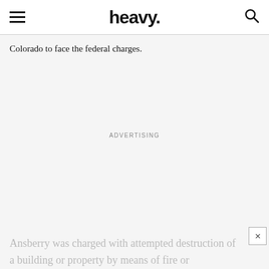heavy.
Colorado to face the federal charges.
ADVERTISING
Ansberry was charged with attempted destruction of a building or property by means of fire or